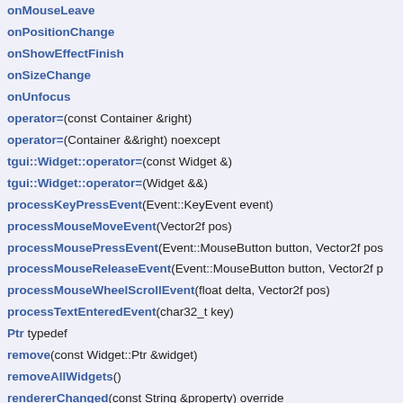onMouseLeave
onPositionChange
onShowEffectFinish
onSizeChange
onUnfocus
operator=(const Container &right)
operator=(Container &&right) noexcept
tgui::Widget::operator=(const Widget &)
tgui::Widget::operator=(Widget &&)
processKeyPressEvent(Event::KeyEvent event)
processMouseMoveEvent(Vector2f pos)
processMousePressEvent(Event::MouseButton button, Vector2f pos
processMouseReleaseEvent(Event::MouseButton button, Vector2f p
processMouseWheelScrollEvent(float delta, Vector2f pos)
processTextEnteredEvent(char32_t key)
Ptr typedef
remove(const Widget::Ptr &widget)
removeAllWidgets()
rendererChanged(const String &property) override
rightMouseButtonNoLongerDown() override (defined in tgui::Conta
rightMousePressed(Vector2f pos) override (defined in tgui::Containe
rightMouseReleased(Vector2f pos) override (defined in tgui::Contair